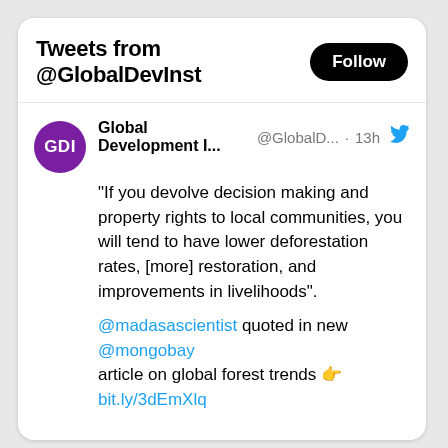Tweets from @GlobalDevInst
"If you devolve decision making and property rights to local communities, you will tend to have lower deforestation rates, [more] restoration, and improvements in livelihoods".
@madasascientist quoted in new @mongobay article on global forest trends 👉 bit.ly/3dEmXlq
[Figure (screenshot): Empty gray preview card area below the tweet]